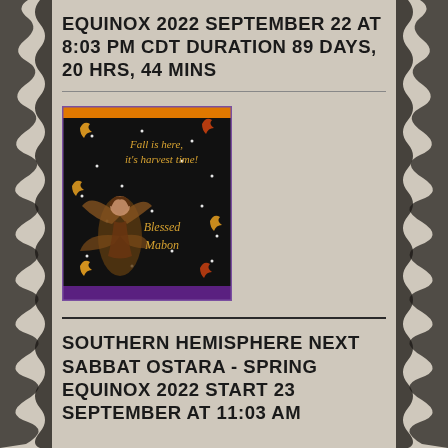EQUINOX 2022 SEPTEMBER 22 AT 8:03 PM CDT DURATION 89 DAYS, 20 HRS, 44 MINS
[Figure (illustration): Decorative image with black background and orange border showing a fairy with autumn wings surrounded by leaves and sparkles, with text 'Fall is here, it's harvest time!' and 'Blessed Mabon' in golden script.]
SOUTHERN HEMISPHERE NEXT SABBAT OSTARA - SPRING EQUINOX 2022 START 23 SEPTEMBER AT 11:03 AM